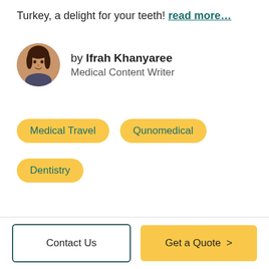Turkey, a delight for your teeth! read more…
[Figure (photo): Circular portrait photo of Ifrah Khanyaree, a young woman with dark hair]
by Ifrah Khanyaree
Medical Content Writer
Medical Travel
Qunomedical
Dentistry
Contact Us
Get a Quote >